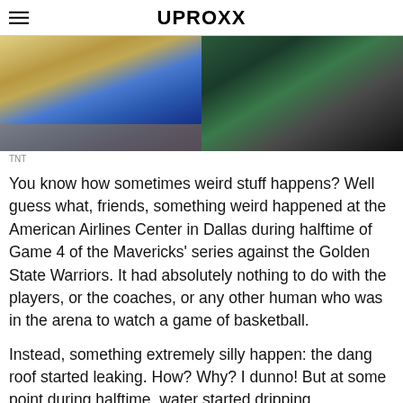UPROXX
[Figure (photo): Two-panel photo: left panel shows blue and white fabric/jersey on a hardwood basketball court floor; right panel shows green metal shelving or rack structure.]
TNT
You know how sometimes weird stuff happens? Well guess what, friends, something weird happened at the American Airlines Center in Dallas during halftime of Game 4 of the Mavericks' series against the Golden State Warriors. It had absolutely nothing to do with the players, or the coaches, or any other human who was in the arena to watch a game of basketball.
Instead, something extremely silly happen: the dang roof started leaking. How? Why? I dunno! But at some point during halftime, water started dripping